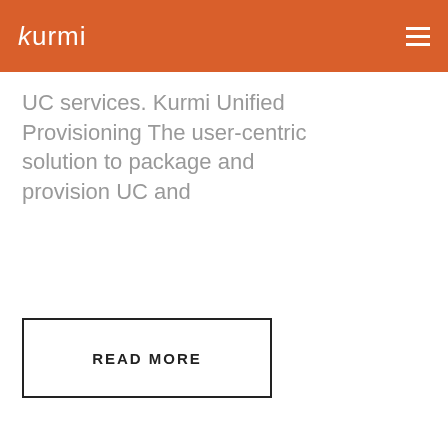kurmi
UC services. Kurmi Unified Provisioning The user-centric solution to package and provision UC and
READ MORE